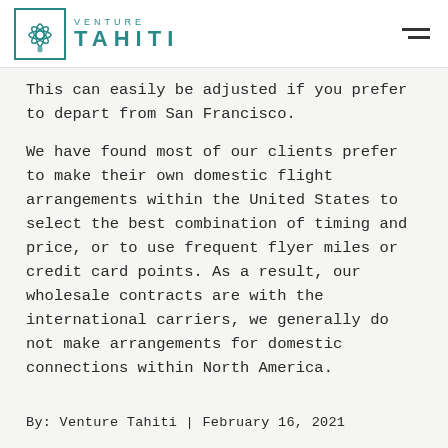Venture Tahiti
This can easily be adjusted if you prefer to depart from San Francisco.
We have found most of our clients prefer to make their own domestic flight arrangements within the United States to select the best combination of timing and price, or to use frequent flyer miles or credit card points. As a result, our wholesale contracts are with the international carriers, we generally do not make arrangements for domestic connections within North America.
By: Venture Tahiti | February 16, 2021